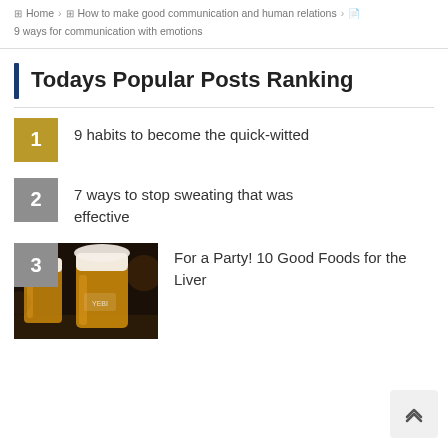Home > How to make good communication and human relations > 9 ways for communication with emotions
Todays Popular Posts Ranking
1 — 9 habits to become the quick-witted
2 — 7 ways to stop sweating that was effective
3 — For a Party! 10 Good Foods for the Liver